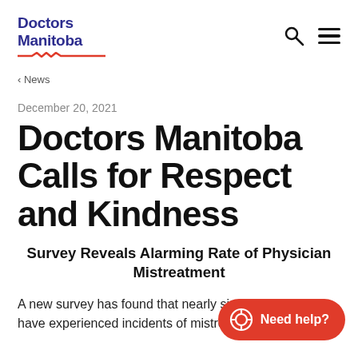Doctors Manitoba
‹ News
December 20, 2021
Doctors Manitoba Calls for Respect and Kindness
Survey Reveals Alarming Rate of Physician Mistreatment
A new survey has found that nearly six in 10 doctors have experienced incidents of mistreatment over the last